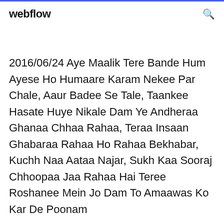webflow
2016/06/24 Aye Maalik Tere Bande Hum Ayese Ho Humaare Karam Nekee Par Chale, Aaur Badee Se Tale, Taankee Hasate Huye Nikale Dam Ye Andheraa Ghanaa Chhaa Rahaa, Teraa Insaan Ghabaraa Rahaa Ho Rahaa Bekhabar, Kuchh Naa Aataa Najar, Sukh Kaa Sooraj Chhoopaa Jaa Rahaa Hai Teree Roshanee Mein Jo Dam To Amaawas Ko Kar De Poonam